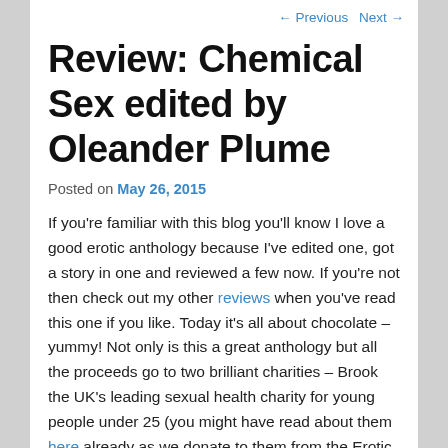← Previous   Next →
Review: Chemical Sex edited by Oleander Plume
Posted on May 26, 2015
If you're familiar with this blog you'll know I love a good erotic anthology because I've edited one, got a story in one and reviewed a few now. If you're not then check out my other reviews when you've read this one if you like. Today it's all about chocolate – yummy! Not only is this a great anthology but all the proceeds go to two brilliant charities – Brook the UK's leading sexual health charity for young people under 25 (you might have read about them here already as we donate to them from the Erotic World